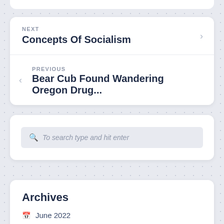NEXT
Concepts Of Socialism
PREVIOUS
Bear Cub Found Wandering Oregon Drug...
To search type and hit enter
Archives
June 2022